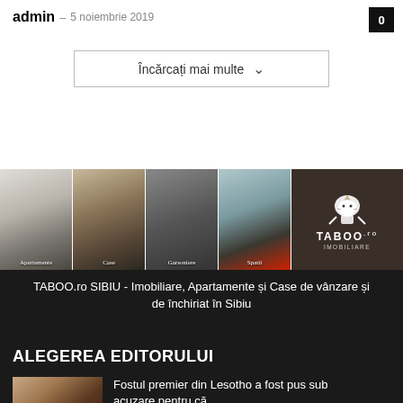admin – 5 noiembrie 2019
Încărcați mai multe
[Figure (photo): Banner image for TABOO.ro Imobiliare showing panels of Apartamente, Case, Garsoniere, Spatii, and TABOO logo]
TABOO.ro SIBIU - Imobiliare, Apartamente și Case de vânzare și de închiriat în Sibiu
ALEGEREA EDITORULUI
[Figure (photo): Thumbnail image of two people]
Fostul premier din Lesotho a fost pus sub acuzare pentru că